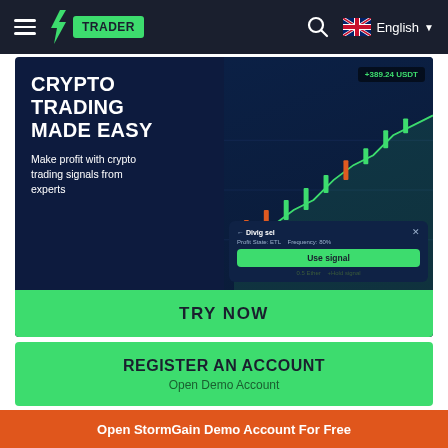≡  ⚡ TRADER    🔍  🇬🇧 English ▼
[Figure (screenshot): Crypto trading platform advertisement banner. Dark blue background with large white bold text 'CRYPTO TRADING MADE EASY', subtitle 'Make profit with crypto trading signals from experts', trading chart visible on right side with +389.24 USDT label, signal card overlay showing 'Use signal' button. Green 'TRY NOW' button at bottom.]
REGISTER AN ACCOUNT
Open Demo Account
Choose a Language
Open StormGain Demo Account For Free